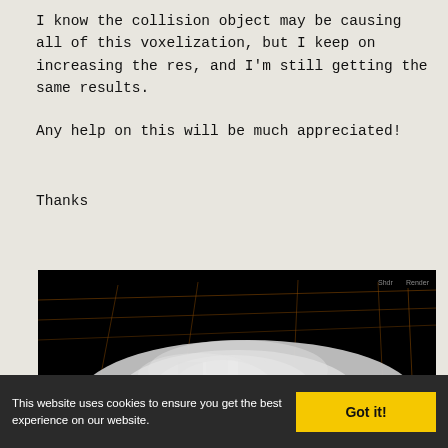I know the collision object may be causing all of this voxelization, but I keep on increasing the res, and I'm still getting the same results.
Any help on this will be much appreciated!
Thanks
[Figure (screenshot): A 3D software viewport showing a voxelized white fluffy object (possibly a cloth or fur simulation) against a black background with wireframe grid lines visible. The object appears blocky/voxelized with blurry white masses on a black background.]
This website uses cookies to ensure you get the best experience on our website.